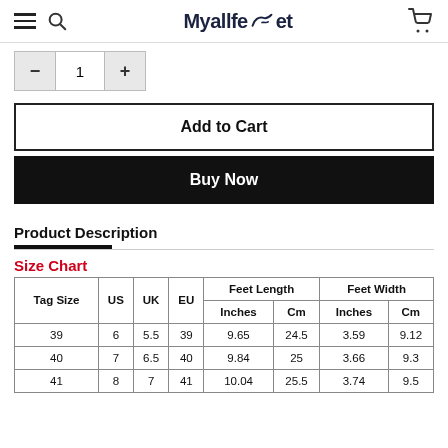Myallfeet
- 1 +
Add to Cart
Buy Now
Product Description
Size Chart
| Tag Size | US | UK | EU | Feet Length Inches | Feet Length Cm | Feet Width Inches | Feet Width Cm |
| --- | --- | --- | --- | --- | --- | --- | --- |
| 39 | 6 | 5.5 | 39 | 9.65 | 24.5 | 3.59 | 9.12 |
| 40 | 7 | 6.5 | 40 | 9.84 | 25 | 3.66 | 9.3 |
| 41 | 8 | 7 | 41 | 10.04 | 25.5 | 3.74 | 9.5 |